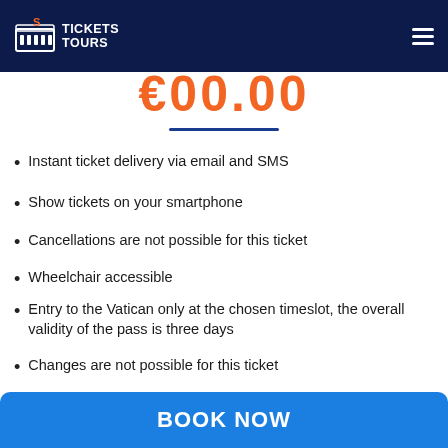Tickets & Tours
Instant ticket delivery via email and SMS
Show tickets on your smartphone
Cancellations are not possible for this ticket
Wheelchair accessible
Entry to the Vatican only at the chosen timeslot, the overall validity of the pass is three days
Changes are not possible for this ticket
Working hours: Monday – Thursday, Saturday: 08:30 AM – 03:30 PM; Friday & Sunday: Closed
BOOK NOW